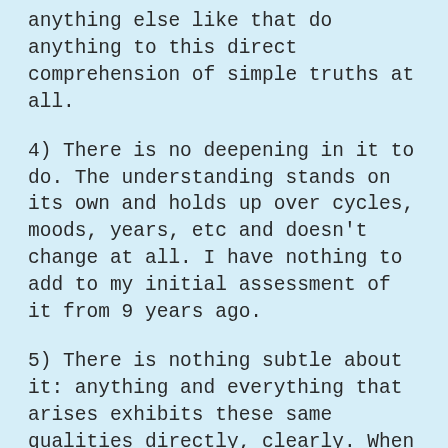anything else like that do anything to this direct comprehension of simple truths at all.
4) There is no deepening in it to do. The understanding stands on its own and holds up over cycles, moods, years, etc and doesn't change at all. I have nothing to add to my initial assessment of it from 9 years ago.
5) There is nothing subtle about it: anything and everything that arises exhibits these same qualities directly, clearly. When I was third path, particularly late in it, those things that didn't exhibit these qualities were exceedingly subtle, and trying to find the gaps in the thing was exceedingly difficult and took years and